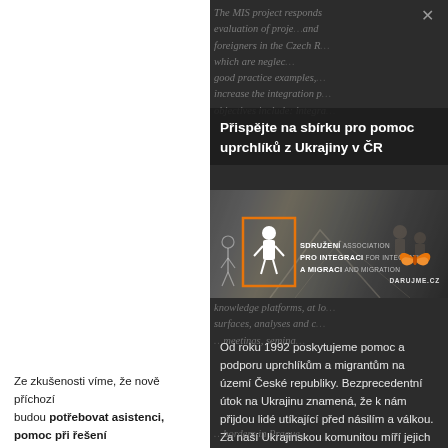The MIS project responds evaluation of proje... and foreigners in the Czech R... which are neglec... good practice examples,... increase the integration p... objectives include: integra...
Přispějte na sbírku pro pomoc uprchlíků z Ukrajiny v ČR
[Figure (photo): Black and white photo of refugees near a tent, with Association for Integration and Migration logo and Darujme.cz logo overlaid]
Od roku 1992 poskytujeme pomoc a podporu uprchlíkům a migrantům na území České republiky. Bezprecedentní útok na Ukrajinu znamená, že k nám přijdou lidé utíkající před násilím a válkou. Za naší Ukrajinskou komunitou míří jejich rodinní příslušníci a blízcí.
Ze zkušenosti víme, že nově příchozí budou potřebovat asistenci, pomoc při řešení jejich základních potřeb a následném...
knowledge platforms, at lo... surfaces, analyses and c... ...meetings, semina...
...borders in Prague...